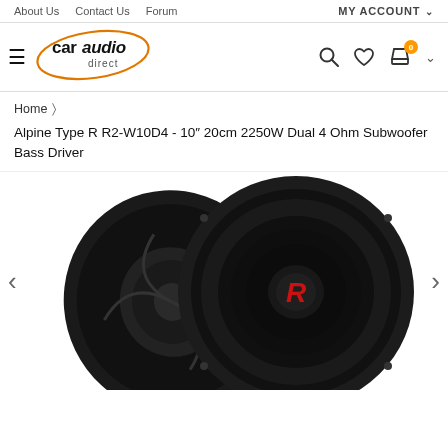About Us  Contact Us  Forum  MY ACCOUNT
[Figure (logo): car audio direct logo with orange oval]
Home > Alpine Type R R2-W10D4 - 10" 20cm 2250W Dual 4 Ohm Subwoofer Bass Driver
[Figure (photo): Two Alpine Type R subwoofer bass drivers shown from the front, black with red R logo, with left and right navigation arrows]